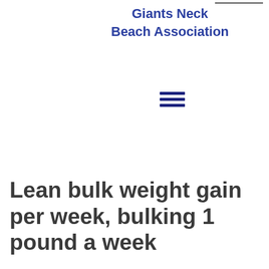Giants Neck Beach Association
[Figure (other): Hamburger menu icon (three horizontal dark blue bars)]
Lean bulk weight gain per week, bulking 1 pound a week
Lean bulk weight gain per week, bulking 1 pound a week - Legal steroids for sale
[Figure (photo): Dark blurred photograph, appears to show gym or fitness equipment against a dark background]